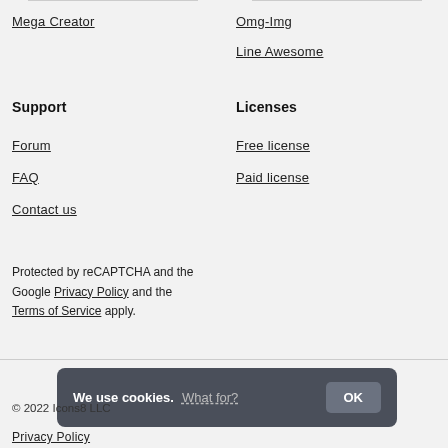Mega Creator
Omg-Img
Line Awesome
Support
Licenses
Forum
Free license
FAQ
Paid license
Contact us
Protected by reCAPTCHA and the Google Privacy Policy and the Terms of Service apply.
© 2022 Icons8 LLC
We use cookies. What for? OK
Privacy Policy